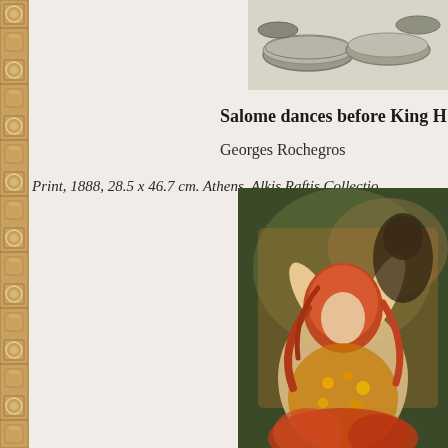[Figure (photo): Top-right corner: black and white print showing circular/disc-like objects, partial view]
Salome dances before King H
Georges Rochegros
Print, 1888, 28.5 x 46.7 cm. Athens, Alkis Raftis Collectio
[Figure (photo): Bottom-right: painting of a woman with red/auburn hair and golden jeweled costume, arms raised, warm orange and green background]